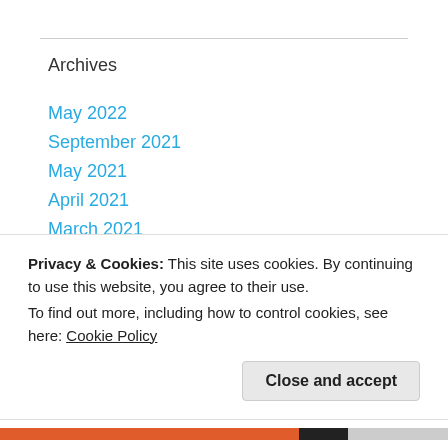Archives
May 2022
September 2021
May 2021
April 2021
March 2021
December 2020
November 2020
July 2020
May 2020
Privacy & Cookies: This site uses cookies. By continuing to use this website, you agree to their use.
To find out more, including how to control cookies, see here: Cookie Policy
Close and accept